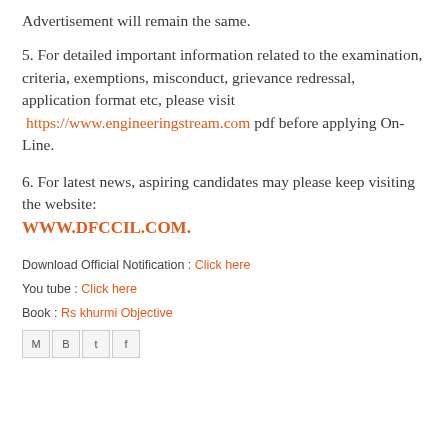Advertisement will remain the same.
5. For detailed important information related to the examination, criteria, exemptions, misconduct, grievance redressal, application format etc, please visit https://www.engineeringstream.com pdf before applying On-Line.
6. For latest news, aspiring candidates may please keep visiting the website: WWW.DFCCIL.COM.
Download Official Notification : Click here
You tube : Click here
Book : Rs khurmi Objective